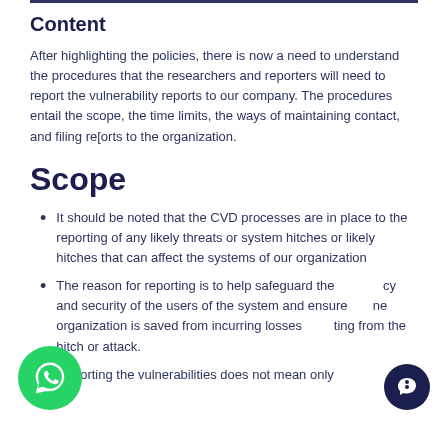Content
After highlighting the policies, there is now a need to understand the procedures that the researchers and reporters will need to report the vulnerability reports to our company. The procedures entail the scope, the time limits, the ways of maintaining contact, and filing re[orts to the organization.
Scope
It should be noted that the CVD processes are in place to the reporting of any likely threats or system hitches or likely hitches that can affect the systems of our organization
The reason for reporting is to help safeguard the privacy and security of the users of the system and ensure the organization is saved from incurring losses resulting from the hitch or attack.
Reporting the vulnerabilities does not mean only...